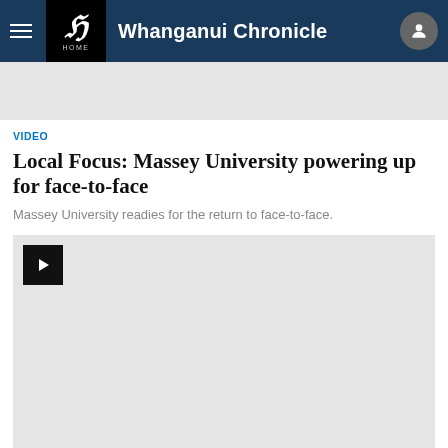Whanganui Chronicle
[Figure (other): Advertisement placeholder banner]
VIDEO
Local Focus: Massey University powering up for face-to-face
Massey University readies for the return to face-to-face.
[Figure (other): Video player with play button, light gray placeholder background]